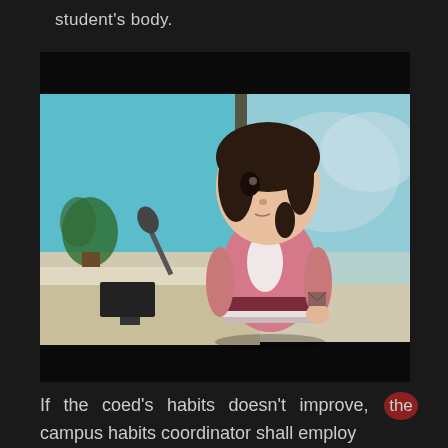student's body.
[Figure (screenshot): Animation still showing a 3D cartoon female character with dark hair and a pink outfit, standing in what appears to be an office or school setting with a blue wall, window, and desk. Text visible in background reads '11e' (mirrored). Dark letterbox bars at top and bottom of frame.]
If the coed's habits doesn't improve, the campus habits coordinator shall employ